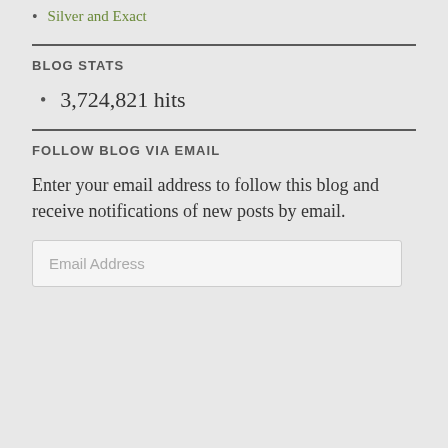Silver and Exact
BLOG STATS
3,724,821 hits
FOLLOW BLOG VIA EMAIL
Enter your email address to follow this blog and receive notifications of new posts by email.
Email Address